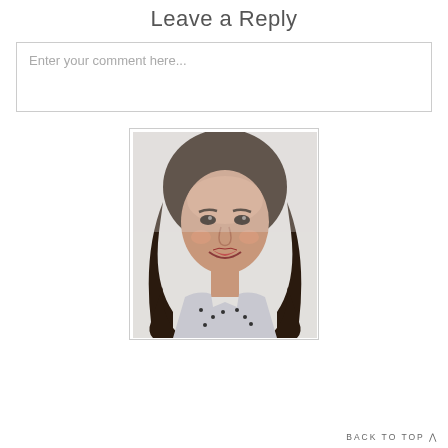Leave a Reply
Enter your comment here...
[Figure (photo): Portrait photo of a woman with long curly dark brown hair, smiling, wearing a patterned blouse, against a light background.]
BACK TO TOP ^